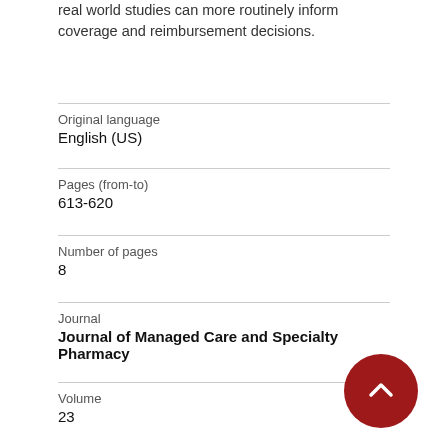real world studies can more routinely inform coverage and reimbursement decisions.
Original language
English (US)
Pages (from-to)
613-620
Number of pages
8
Journal
Journal of Managed Care and Specialty Pharmacy
Volume
23
Issue number
6
State